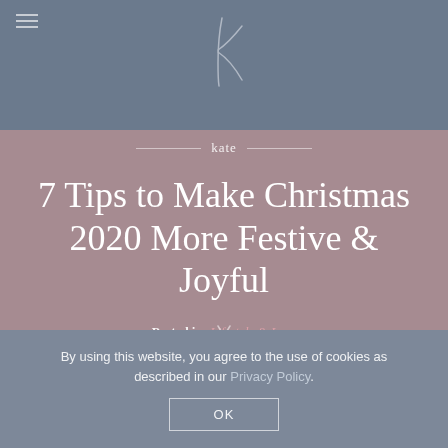kate (website header with logo K and hamburger menu)
7 Tips to Make Christmas 2020 More Festive & Joyful
Posted in: Lifestyle & Love
By using this website, you agree to the use of cookies as described in our Privacy Policy.
OK